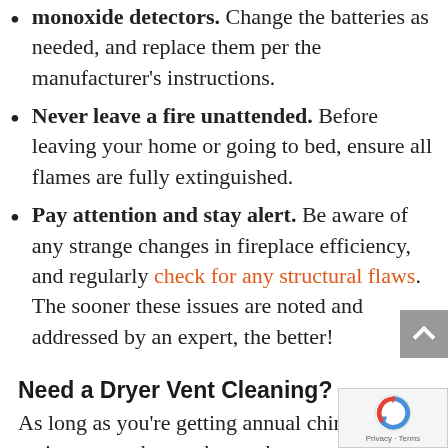monoxide detectors. Change the batteries as needed, and replace them per the manufacturer's instructions.
Never leave a fire unattended. Before leaving your home or going to bed, ensure all flames are fully extinguished.
Pay attention and stay alert. Be aware of any strange changes in fireplace efficiency, and regularly check for any structural flaws. The sooner these issues are noted and addressed by an expert, the better!
Need a Dryer Vent Cleaning?
As long as you're getting annual chimney maintenance done, why not have your dryer vents cleaned, too? Many don't realize that failure to clean the dryer vents is one of the leading causes of house fires in the U.S....